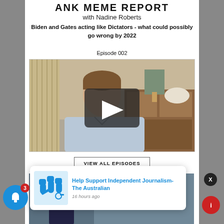ANK MEME REPORT
with Nadine Roberts
Biden and Gates acting like Dictators - what could possibly go wrong by 2022
Episode 002
[Figure (screenshot): Video thumbnail of a man in a light blue shirt sitting in front of a bookcase with a lamp. A dark play button overlay is centered on the thumbnail.]
VIEW ALL EPISODES
[Figure (screenshot): Partial image of a person, partially obscured by notification popup.]
[Figure (other): Notification popup: icon of raised fists with pencil, title 'Help Support Independent Journalism- The Australian', timestamp '16 hours ago']
Help Support Independent Journalism- The Australian
16 hours ago